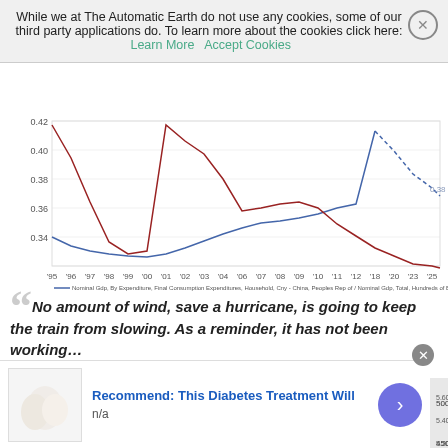While we at The Automatic Earth do not use any cookies, some of our third party applications do. To learn more about the cookies click here: Learn More  Accept Cookies
[Figure (continuous-plot): Line chart showing China GDP ratios from 1995 to 2025. Blue line shows Nominal GDP by Expenditure, Final Consumption Expenditures, Household. Red/dark red line shows Nominal GDP by Expenditure, Gross Capital Formation. Y-axis ranges from 0.34 to 0.42. Red line peaks around 1995 at 0.42 and dips around 2000, then rises to peak around 2003-2004. Blue line trends upward from around 2000 to peak near 0.42 around 2018, then dips with dashed projection to 2025 showing value of 0.38.]
No amount of wind, save a hurricane, is going to keep the train from slowing. As a reminder, it has not been working…
[Figure (continuous-plot): Shanghai Composite stock chart showing candlestick price action with red dashed ellipses highlighting patterns. Green and red candlesticks visible. Right y-axis shows values from 4000 to 5000 and 5.00 to 5.40. Label 'Shanghai Composite' shown in green bold text.]
Recommend: This Diabetes Treatment Will
n/a